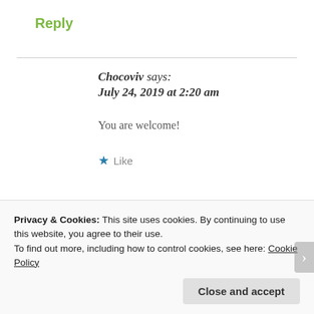Reply
Chocoviv says:
July 24, 2019 at 2:20 am
You are welcome!
★ Like
Reply
Privacy & Cookies: This site uses cookies. By continuing to use this website, you agree to their use.
To find out more, including how to control cookies, see here: Cookie Policy
Close and accept